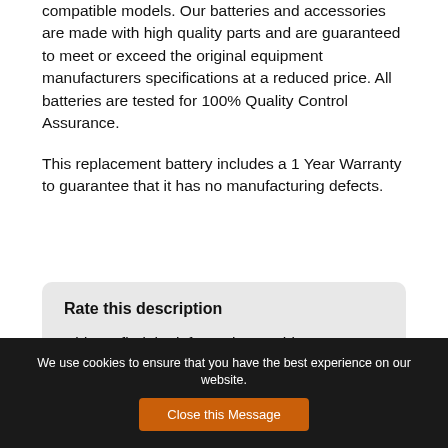compatible models. Our batteries and accessories are made with high quality parts and are guaranteed to meet or exceed the original equipment manufacturers specifications at a reduced price. All batteries are tested for 100% Quality Control Assurance.
This replacement battery includes a 1 Year Warranty to guarantee that it has no manufacturing defects.
Rate this description
Did you find the information on this page useful? Let us know!
We use cookies to ensure that you have the best experience on our website. Close this Message